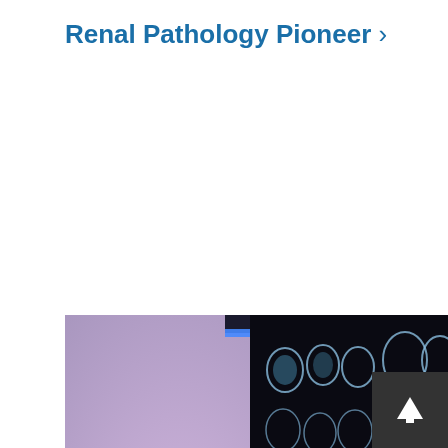Renal Pathology Pioneer >
[Figure (photo): A male doctor in a white coat examining MRI/CT scan films held up to a light, with a purple-tinted background. He is middle-aged with grey-brown hair, looking at the films and holding a pen.]
[Figure (other): Scroll-to-top button with upward arrow icon in dark background, positioned at lower right.]